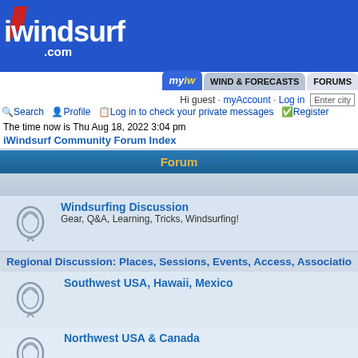[Figure (logo): iwindsurf.com logo with sail graphic on blue header bar]
myIW | WIND & FORECASTS | FORUMS | Hi guest · myAccount · Log in | Enter city
Search | Profile | Log in to check your private messages | Register
The time now is Thu Aug 18, 2022 3:04 pm
iWindsurf Community Forum Index
| Forum |
| --- |
| Windsurfing Discussion
Gear, Q&A, Learning, Tricks, Windsurfing! |
| Regional Discussion: Places, Sessions, Events, Access, Associations |
| Southwest USA, Hawaii, Mexico |
| Northwest USA & Canada |
| Eastern and Central USA & Canada |
| Europe, Caribbean & S. America, Australia & NZ, Africa, Asia |